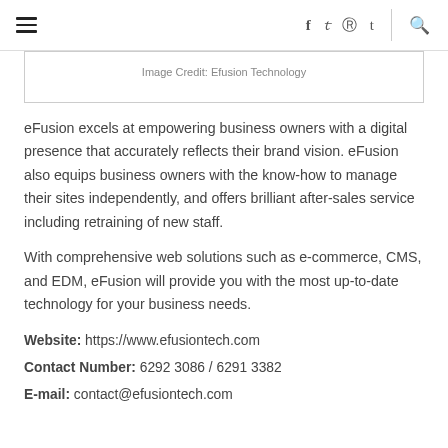≡  f  y  ⊕  t  🔍
Image Credit: Efusion Technology
eFusion excels at empowering business owners with a digital presence that accurately reflects their brand vision. eFusion also equips business owners with the know-how to manage their sites independently, and offers brilliant after-sales service including retraining of new staff.
With comprehensive web solutions such as e-commerce, CMS, and EDM, eFusion will provide you with the most up-to-date technology for your business needs.
Website: https://www.efusiontech.com
Contact Number: 6292 3086 / 6291 3382
E-mail: contact@efusiontech.com